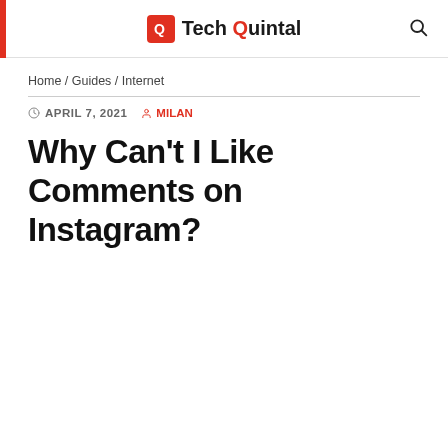Tech Quintal
Home / Guides / Internet
APRIL 7, 2021  MILAN
Why Can't I Like Comments on Instagram?